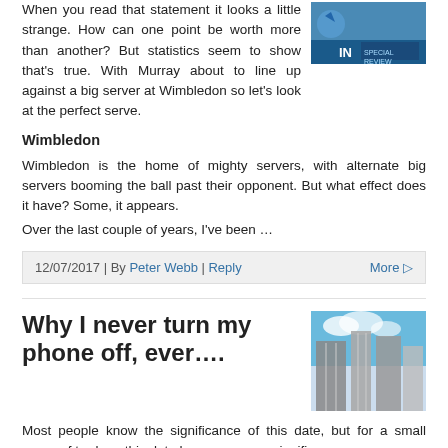When you read that statement it looks a little strange. How can one point be worth more than another? But statistics seem to show that's true. With Murray about to line up against a big server at Wimbledon so let's look at the perfect serve.
[Figure (photo): Blue image with 'IN' text, appears to be a magazine or editorial cover thumbnail]
Wimbledon
Wimbledon is the home of mighty servers, with alternate big servers booming the ball past their opponent. But what effect does it have? Some, it appears.
Over the last couple of years, I've been …
12/07/2017 | By Peter Webb | Reply    More ▷
Why I never turn my phone off, ever….
[Figure (photo): Upward view of tall city buildings against blue sky]
Most people know the significance of this date, but for a small group of traders, this date has even more significance.
Our story of this day
It started the same as any other day. I was scheduled to do a talk in central